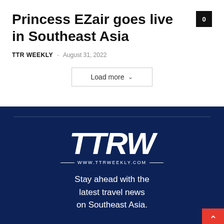Princess EZair goes live in Southeast Asia
TTR WEEKLY – August 31, 2022
0
Load more
[Figure (logo): TTRW logo with text WWW.TTRWEEKLY.COM on dark blue background]
Stay ahead with the latest travel news on Southeast Asia.